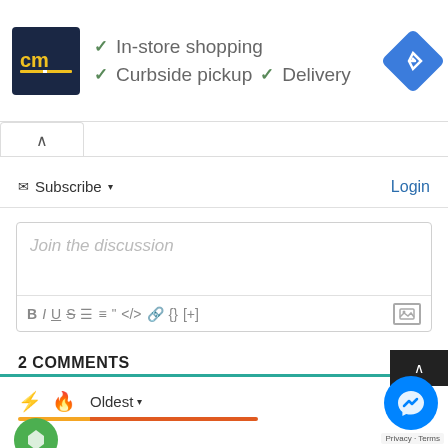[Figure (screenshot): Advertisement banner for CM store showing logo and service icons: In-store shopping, Curbside pickup, Delivery checkmarks and navigation icon]
✓ In-store shopping
✓ Curbside pickup  ✓ Delivery
Subscribe ▼
Login
Join the discussion
B  I  U  S  ≡  ≡  "  <>  🔗  {}  [+]
2 COMMENTS
Oldest ▾